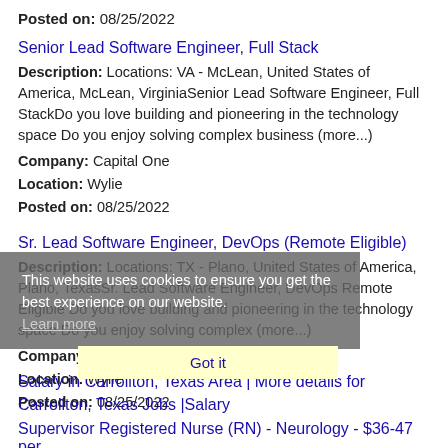Posted on: 08/25/2022
Senior Lead Software Engineer, Full Stack
Description: Locations: VA - McLean, United States of America, McLean, VirginiaSenior Lead Software Engineer, Full StackDo you love building and pioneering in the technology space Do you enjoy solving complex business (more...)
Company: Capital One
Location: Wylie
Posted on: 08/25/2022
Sr. Lead Software Engineer, DevOps (Remote Eligible)
Description: Locations: TX - Plano, United States of America, Plano, TexasSr. Lead Software Engineer, DevOps Remote Eligible Do you love building and pioneering in the technology space Do you enjoy solving complex (more...)
Company: Capital One
Location: Wylie
Posted on: 08/25/2022
This website uses cookies to ensure you get the best experience on our website. Learn more
Got it
Salary in Carrollton, Texas Area | More details for Carrollton, Texas Jobs |Salary
Supervisor Registered Nurse (RN) - Neurology - $36-47 per